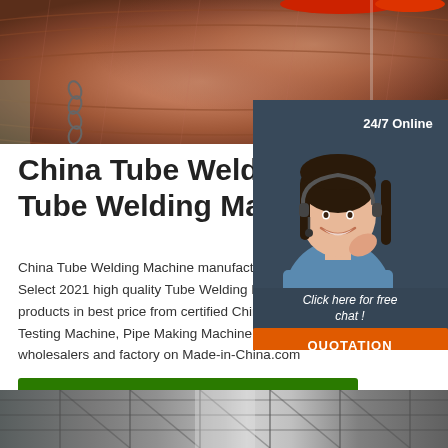[Figure (photo): Close-up photo of a large industrial metal pipe or tube, reddish-brown surface, with a chain visible, and red ring/fixture at top. Industrial workshop setting.]
China Tube Welding Machi Tube Welding Machine ...
China Tube Welding Machine manufactu Select 2021 high quality Tube Welding M products in best price from certified Chin Testing Machine, Pipe Making Machine s wholesalers and factory on Made-in-China.com
[Figure (photo): 24/7 Online chat popup with a female customer service representative wearing a headset, smiling. Dark blue-grey background with 'Click here for free chat!' text and orange QUOTATION button.]
Get Price
[Figure (photo): Bottom portion of an industrial facility or factory interior, showing metal structures and ceiling.]